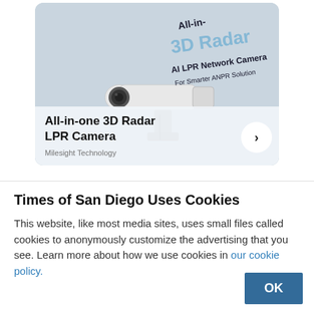[Figure (photo): Advertisement card for Milesight Technology All-in-one 3D Radar LPR Camera. Shows a white bullet-style network camera on a light blue-gray background with text overlay: 'All-in-one 3D Radar', 'AI LPR Network Camera', 'For Smarter ANPR Solution'. Below the image: bold title 'All-in-one 3D Radar LPR Camera', subtitle 'Milesight Technology', and a circular arrow button.]
Times of San Diego Uses Cookies
This website, like most media sites, uses small files called cookies to anonymously customize the advertising that you see. Learn more about how we use cookies in our cookie policy.